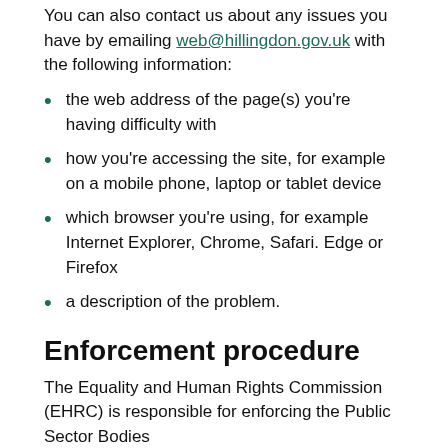You can also contact us about any issues you have by emailing web@hillingdon.gov.uk with the following information:
the web address of the page(s) you're having difficulty with
how you're accessing the site, for example on a mobile phone, laptop or tablet device
which browser you're using, for example Internet Explorer, Chrome, Safari. Edge or Firefox
a description of the problem.
Enforcement procedure
The Equality and Human Rights Commission (EHRC) is responsible for enforcing the Public Sector Bodies